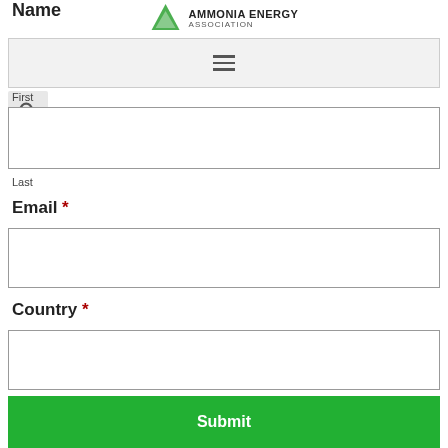Name
[Figure (logo): Ammonia Energy Association logo with green triangle and text]
[Figure (screenshot): Navigation bar with hamburger menu icon]
First
Last
Email *
Country *
Submit